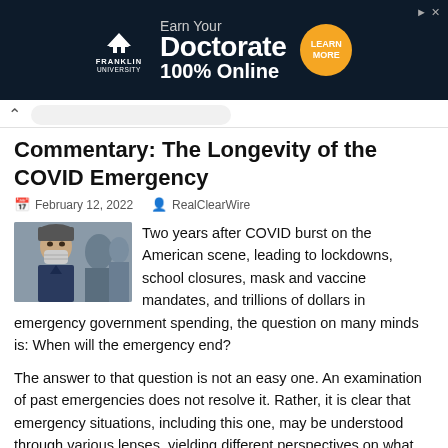[Figure (other): Franklin University advertisement banner: dark navy background, Franklin University logo on left, text 'Earn Your Doctorate 100% Online', orange circular button 'LEARN MORE']
Commentary: The Longevity of the COVID Emergency
February 12, 2022   RealClearWire
[Figure (photo): Person wearing a face mask in a crowd, winter clothing]
Two years after COVID burst on the American scene, leading to lockdowns, school closures, mask and vaccine mandates, and trillions of dollars in emergency government spending, the question on many minds is: When will the emergency end?
The answer to that question is not an easy one. An examination of past emergencies does not resolve it. Rather, it is clear that emergency situations, including this one, may be understood through various lenses, yielding different perspectives on what the endpoint will be.